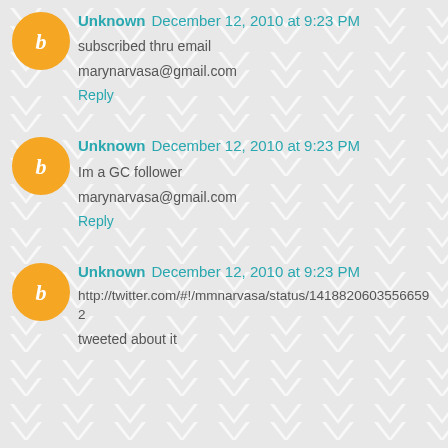Unknown December 12, 2010 at 9:23 PM
subscribed thru email
marynarvasa@gmail.com
Reply
Unknown December 12, 2010 at 9:23 PM
Im a GC follower
marynarvasa@gmail.com
Reply
Unknown December 12, 2010 at 9:23 PM
http://twitter.com/#!/mmnarvasa/status/14188206035566592
tweeted about it